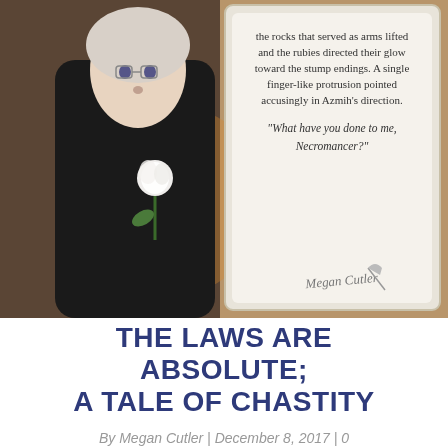[Figure (illustration): Anime-style illustration showing a character in dark clothing holding a white rose, alongside a framed text excerpt reading 'the rocks that served as arms lifted and the rubies directed their glow toward the stump endings. A single finger-like protrusion pointed accusingly in Azmih's direction. "What have you done to me, Necromancer?"' with a signature 'Megan Cutler' at the bottom.]
THE LAWS ARE ABSOLUTE; A TALE OF CHASTITY
By Megan Cutler | December 8, 2017 | 0 Comment
I've done two rounds of Seven Deadly Sins prompts, mostly because I have such a large pool of characters to draw from. While flipping through other prompt